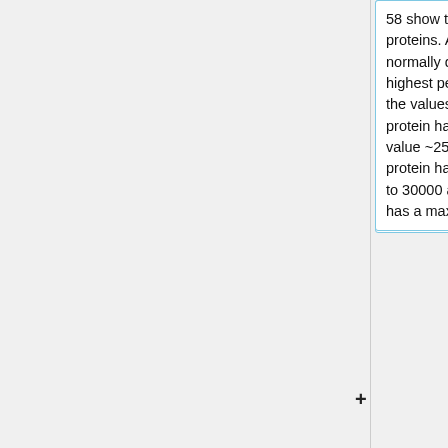58 show the RMS distribution of the proteins. All of them are nearly normally distributed and have their highest peak around 0.15nm, but the values differ. The wildtype protein has the lowest maximal value ~25000, the mutation 8 protein has it maximal value close to 30000 and the mutation 3 protein has a maximum value >35000.
Figures 59, 60 and 61 show images of alignments of the largest two clusters of the certain proteins. The...